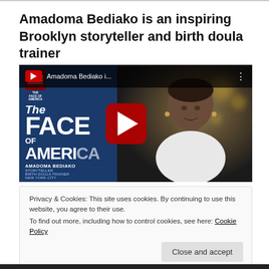Amadoma Bediako is an inspiring Brooklyn storyteller and birth doula trainer
[Figure (screenshot): YouTube video thumbnail showing 'The Face of America' with Amadoma Bediako. Left side shows book cover with dark blue background and white bold text reading 'The Face of America'. Right side shows a woman (Amadoma Bediako) in a white top against a dark bokeh background. A red YouTube play button is centered on the thumbnail. Top bar shows channel logo and title 'Amadoma Bediako i...']
Privacy & Cookies: This site uses cookies. By continuing to use this website, you agree to their use.
To find out more, including how to control cookies, see here: Cookie Policy